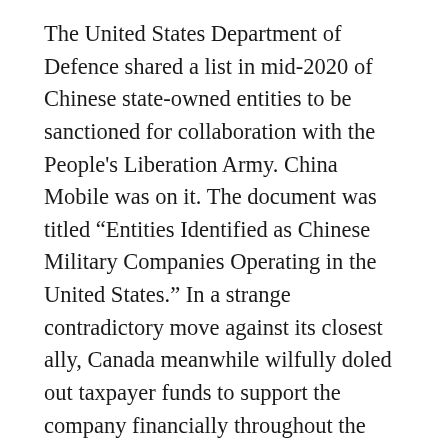The United States Department of Defence shared a list in mid-2020 of Chinese state-owned entities to be sanctioned for collaboration with the People's Liberation Army. China Mobile was on it. The document was titled “Entities Identified as Chinese Military Companies Operating in the United States.” In a strange contradictory move against its closest ally, Canada meanwhile wilfully doled out taxpayer funds to support the company financially throughout the pandemic.
How much was given? We may never know. The Government of Canada will not disclose the dollar amount. We know that the parent company